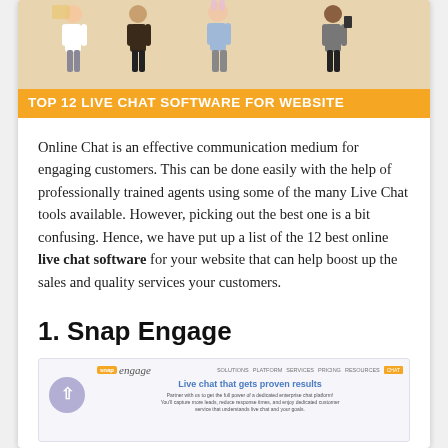[Figure (photo): Hero image showing several people holding signs, with an orange banner at bottom reading 'TOP 12 LIVE CHAT SOFTWARE FOR WEBSITE']
Online Chat is an effective communication medium for engaging customers. This can be done easily with the help of professionally trained agents using some of the many Live Chat tools available. However, picking out the best one is a bit confusing. Hence, we have put up a list of the 12 best online live chat software for your website that can help boost up the sales and quality services your customers.
1. Snap Engage
[Figure (screenshot): Screenshot of Snap Engage website showing 'Live chat that gets proven results' headline with navigation and back button]